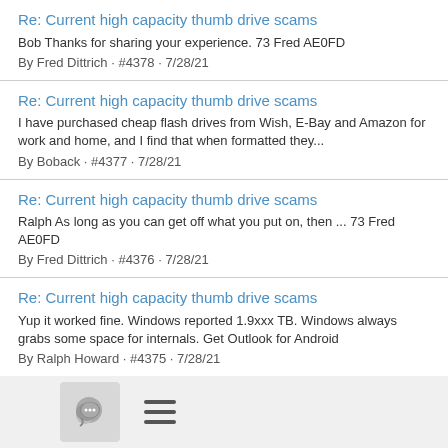Re: Current high capacity thumb drive scams
Bob Thanks for sharing your experience. 73 Fred AE0FD
By Fred Dittrich · #4378 · 7/28/21
Re: Current high capacity thumb drive scams
I have purchased cheap flash drives from Wish, E-Bay and Amazon for work and home, and I find that when formatted they...
By Boback · #4377 · 7/28/21
Re: Current high capacity thumb drive scams
Ralph As long as you can get off what you put on, then ... 73 Fred AE0FD
By Fred Dittrich · #4376 · 7/28/21
Re: Current high capacity thumb drive scams
Yup it worked fine. Windows reported 1.9xxx TB. Windows always grabs some space for internals. Get Outlook for Android
By Ralph Howard · #4375 · 7/28/21
Re: Current high capacity thumb drive scams